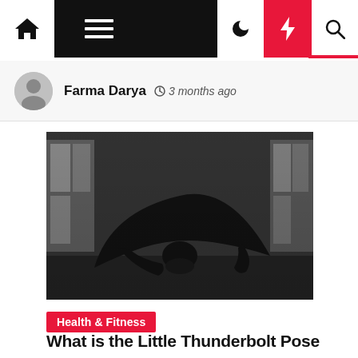Navigation bar with home, menu, dark mode, lightning, and search icons
Farma Darya  3 months ago
[Figure (photo): Black and white photograph of a person performing a yoga pose (forward bend / child's pose variation), sitting on a mat in a dimly lit room with windows visible in the background.]
Health & Fitness
What is the Little Thunderbolt Pose (suptha Vajrasana)? Here & There